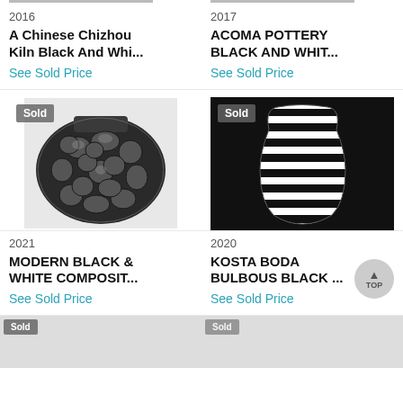2016
A Chinese Chizhou Kiln Black And Whi...
See Sold Price
2017
ACOMA POTTERY BLACK AND WHIT...
See Sold Price
[Figure (photo): A dark ceramic vessel with crackle/mosaic black and silver pattern, sold badge]
[Figure (photo): A bulbous black and white striped glass vase on black background, sold badge]
2021
MODERN BLACK & WHITE COMPOSIT...
See Sold Price
2020
KOSTA BODA BULBOUS BLACK ...
See Sold Price
[Figure (photo): Partial view of sold item at bottom left]
[Figure (photo): Partial view of sold item at bottom right]